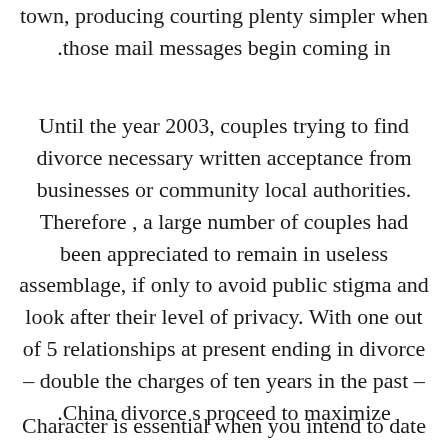town, producing courting plenty simpler when .those mail messages begin coming in
Until the year 2003, couples trying to find divorce necessary written acceptance from businesses or community local authorities. Therefore , a large number of couples had been appreciated to remain in useless assemblage, if only to avoid public stigma and look after their level of privacy. With one out of 5 relationships at present ending in divorce – double the charges of ten years in the past – .China divorce s proceed to maximize
Character is essential when you intend to date